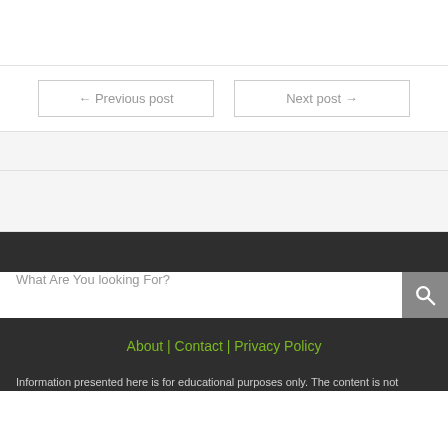← Previous post
Next post →
What Are You looking For?
About | Contact | Privacy Policy
Information presented here is for educational purposes only. The content is not